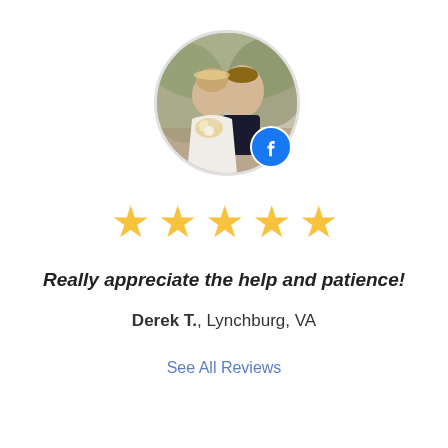[Figure (photo): Circular profile photo of a couple (bride and groom) with a Facebook badge overlay in the bottom right corner]
[Figure (infographic): Five gold star rating icons]
Really appreciate the help and patience!
Derek T., Lynchburg, VA
See All Reviews